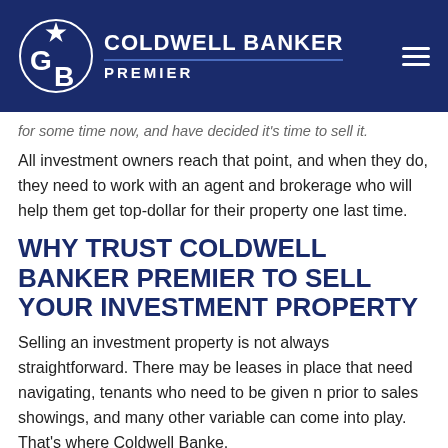COLDWELL BANKER PREMIER
for some time now, and have decided it's time to sell it.
All investment owners reach that point, and when they do, they need to work with an agent and brokerage who will help them get top-dollar for their property one last time.
WHY TRUST COLDWELL BANKER PREMIER TO SELL YOUR INVESTMENT PROPERTY
Selling an investment property is not always straightforward. There may be leases in place that need navigating, tenants who need to be given n prior to sales showings, and many other variable can come into play. That's where Coldwell Banke,